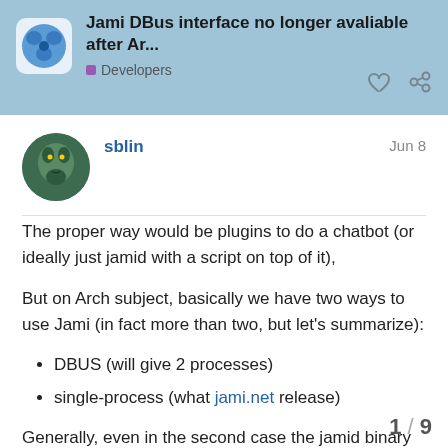Jami DBus interface no longer avaliable after Ar... | Developers
sblin   Jun 8
The proper way would be plugins to do a chatbot (or ideally just jamid with a script on top of it),
But on Arch subject, basically we have two ways to use Jami (in fact more than two, but let's summarize):
DBUS (will give 2 processes)
single-process (what jami.net release)
Generally, even in the second case the jamid binary still exists and is available for dbus, but on Arch I don't think it's the case:
I think the Arch packager disabled dbus recently for two reason:
It's what we do on jami.net
1 / 9